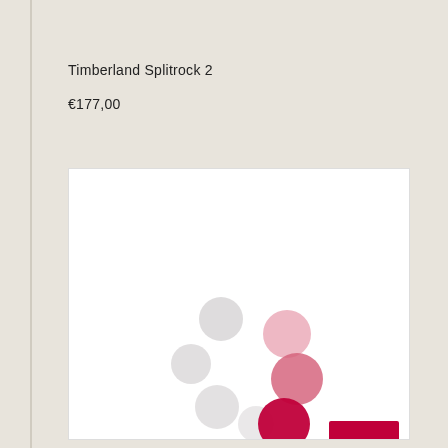Timberland Splitrock 2
€177,00
[Figure (screenshot): White product image box with a loading spinner animation — seven colored circles arranged in a circular/arc pattern, ranging from light gray to pink to deep red, indicating a loading state]